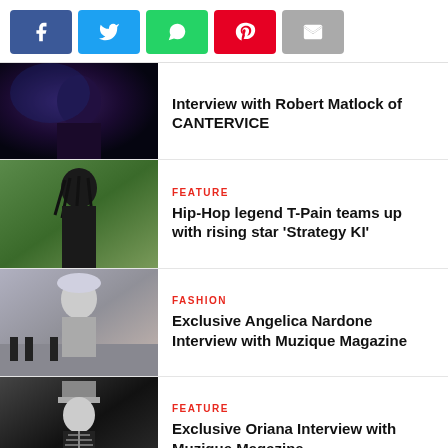[Figure (infographic): Social share buttons: Facebook (blue), Twitter (light blue), WhatsApp (green), Pinterest (red), Email (grey)]
[Figure (photo): Dark-toned photo of a performer with sunglasses under purple/blue lighting]
Interview with Robert Matlock of CANTERVICE
[Figure (photo): Outdoor photo of a rapper with dreadlocks, dark clothing, sunglasses]
FEATURE
Hip-Hop legend T-Pain teams up with rising star 'Strategy KI'
[Figure (photo): Fashion photo of a woman with silver headwear, posing near a piano]
FASHION
Exclusive Angelica Nardone Interview with Muzique Magazine
[Figure (photo): Black and white photo of a performer in a marching band-style outfit]
FEATURE
Exclusive Oriana Interview with Muzique Magazine